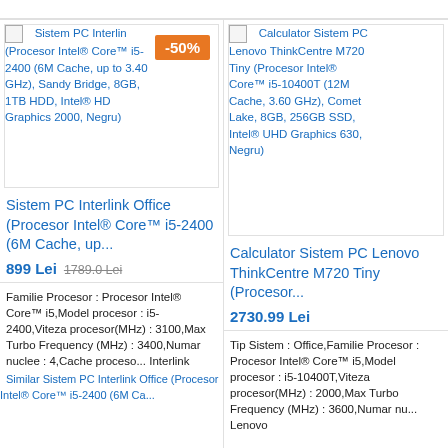[Figure (screenshot): Product image placeholder for Sistem PC Interlink Office with -50% discount badge]
Sistem PC Interlink Office (Procesor Intel® Core™ i5-2400 (6M Cache, up to 3.40 GHz), Sandy Bridge, 8GB, 1TB HDD, Intel® HD Graphics 2000, Negru)
Sistem PC Interlink Office (Procesor Intel® Core™ i5-2400 (6M Cache, up...
899 Lei   1789.0 Lei
Familie Procesor : Procesor Intel® Core™ i5,Model procesor : i5-2400,Viteza procesor(MHz) : 3100,Max Turbo Frequency (MHz) : 3400,Numar nuclee : 4,Cache proceso... Interlink
Similar Sistem PC Interlink Office (Procesor Intel® Core™ i5-2400 (6M Cache, up to 3.40 GHz)...
[Figure (screenshot): Product image placeholder for Calculator Sistem PC Lenovo ThinkCentre M720 Tiny]
Calculator Sistem PC Lenovo ThinkCentre M720 Tiny (Procesor Intel® Core™ i5-10400T (12M Cache, 3.60 GHz), Comet Lake, 8GB, 256GB SSD, Intel® UHD Graphics 630, Negru)
Calculator Sistem PC Lenovo ThinkCentre M720 Tiny (Procesor...
2730.99 Lei
Tip Sistem : Office,Familie Procesor : Procesor Intel® Core™ i5,Model procesor : i5-10400T,Viteza procesor(MHz) : 2000,Max Turbo Frequency (MHz) : 3600,Numar nu... Lenovo